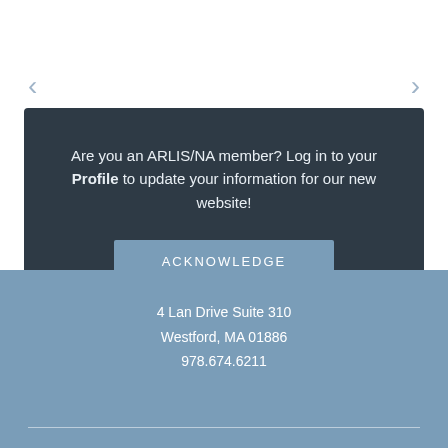Are you an ARLIS/NA member? Log in to your Profile to update your information for our new website!
ACKNOWLEDGE
4 Lan Drive Suite 310
Westford, MA 01886
978.674.6211